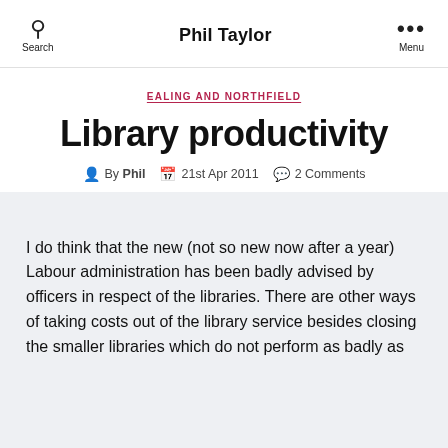Phil Taylor
EALING AND NORTHFIELD
Library productivity
By Phil  21st Apr 2011  2 Comments
I do think that the new (not so new now after a year) Labour administration has been badly advised by officers in respect of the libraries. There are other ways of taking costs out of the library service besides closing the smaller libraries which do not perform as badly as